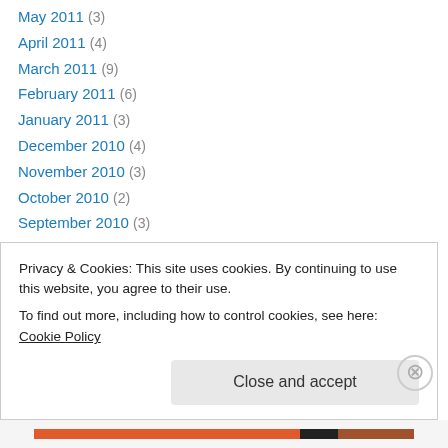May 2011 (3)
April 2011 (4)
March 2011 (9)
February 2011 (6)
January 2011 (3)
December 2010 (4)
November 2010 (3)
October 2010 (2)
September 2010 (3)
August 2010 (1)
July 2010 (2)
June 2010 (5)
May 2010 (3)
Privacy & Cookies: This site uses cookies. By continuing to use this website, you agree to their use. To find out more, including how to control cookies, see here: Cookie Policy
Close and accept